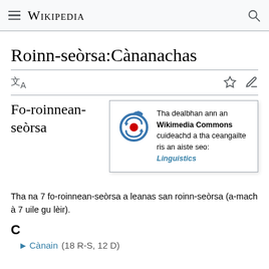Wikipedia
Roinn-seòrsa:Cànanachas
Fo-roinnean-seòrsa
[Figure (infographic): Wikimedia Commons logo with tooltip box reading: Tha dealbhan ann an Wikimedia Commons cuideachd a tha ceangailte ris an aiste seo: Linguistics]
Tha na 7 fo-roinnean-seòrsa a leanas san roinn-seòrsa (a-mach à 7 uile gu lèir).
C
▶ Cànain (18 R-S, 12 D)